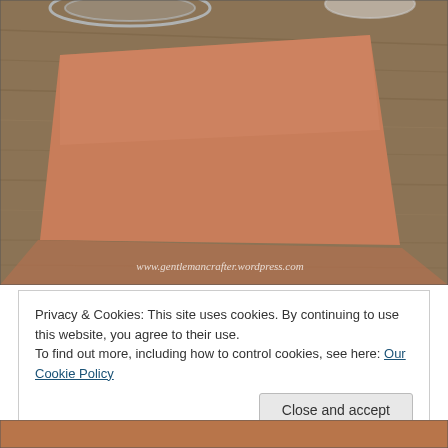[Figure (photo): A salmon/terracotta colored rectangular piece of paper or cardstock lying flat on a wooden table surface. Glass vessels are partially visible at the top of the image. A watermark reads 'www.gentlemancrafter.wordpress.com' at the bottom right.]
Privacy & Cookies: This site uses cookies. By continuing to use this website, you agree to their use.
To find out more, including how to control cookies, see here: Our Cookie Policy
Close and accept
[Figure (photo): Partial view of another photo at the bottom of the page, showing a warm brown/orange toned scene.]